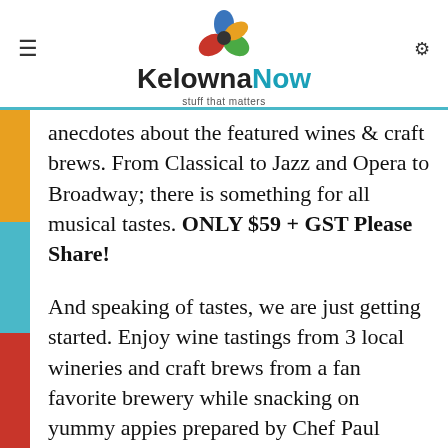KelownaNow — stuff that matters
anecdotes about the featured wines & craft brews. From Classical to Jazz and Opera to Broadway; there is something for all musical tastes. ONLY $59 + GST Please Share!
And speaking of tastes, we are just getting started. Enjoy wine tastings from 3 local wineries and craft brews from a fan favorite brewery while snacking on yummy appies prepared by Chef Paul Cecconi of BRODO Kitchen. Can you handle more? How about some great background music while sipping, grazing and mingling?
Let's pump up the volume of an already